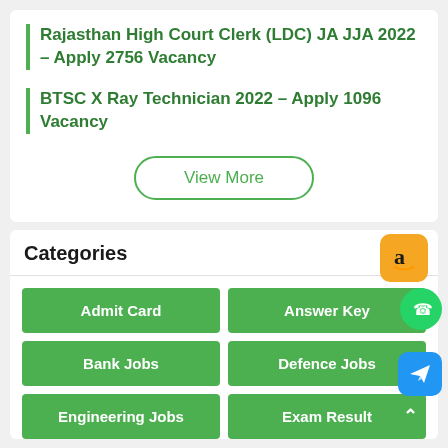Rajasthan High Court Clerk (LDC) JA JJA 2022 – Apply 2756 Vacancy
BTSC X Ray Technician 2022 – Apply 1096 Vacancy
View More
Categories
Admit Card
Answer Key
Bank Jobs
Defence Jobs
Engineering Jobs
Exam Result